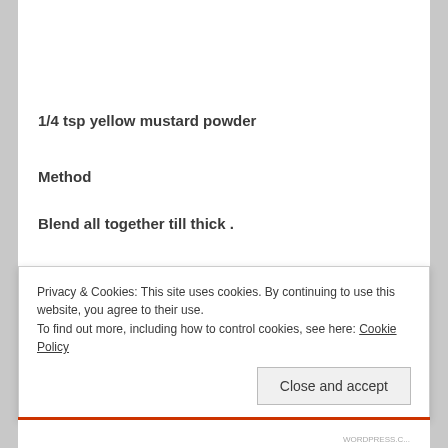1/4 tsp yellow mustard powder
Method
Blend all together till thick .
For the filling
Corn pellets
Privacy & Cookies: This site uses cookies. By continuing to use this website, you agree to their use.
To find out more, including how to control cookies, see here: Cookie Policy
Close and accept